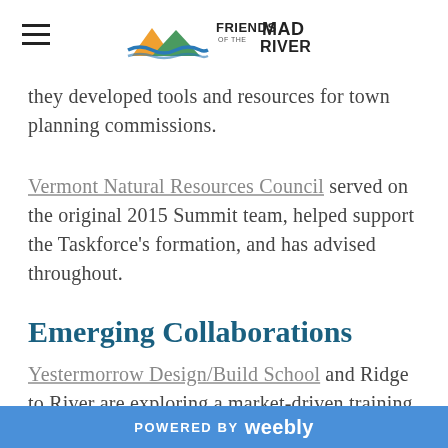Friends of the Mad River [logo]
they developed tools and resources for town planning commissions.
Vermont Natural Resources Council served on the original 2015 Summit team, helped support the Taskforce's formation, and has advised throughout.
Emerging Collaborations
Yestermorrow Design/Build School and Ridge to River are exploring a market-driven training and certification program to teach stormwater-resilient techniques to contractors, engineers,
POWERED BY weebly